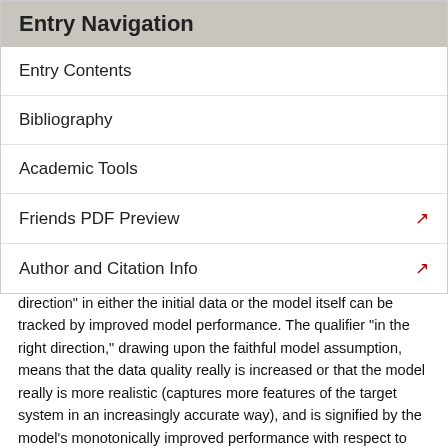Entry Navigation
Entry Contents
Bibliography
Academic Tools
Friends PDF Preview
Author and Citation Info
direction" in either the initial data or the model itself can be tracked by improved model performance. The qualifier “in the right direction,” drawing upon the faithful model assumption, means that the data quality really is increased or that the model really is more realistic (captures more features of the target system in an increasingly accurate way), and is signified by the model’s monotonically improved performance with respect to the target system.
However, both of these basic approaches to confirming models encounter serious difficulties when applied to nonlinear models, where the principle of linear